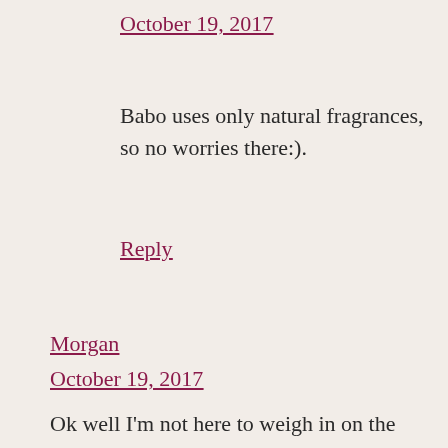October 19, 2017
Babo uses only natural fragrances, so no worries there:).
Reply
Morgan
October 19, 2017
Ok well I'm not here to weigh in on the debate in some of these comments, but to just ask about/recommend another lip balm that I think might be good! I really like Dr. Bronner's organic lip balm and the ingredients look